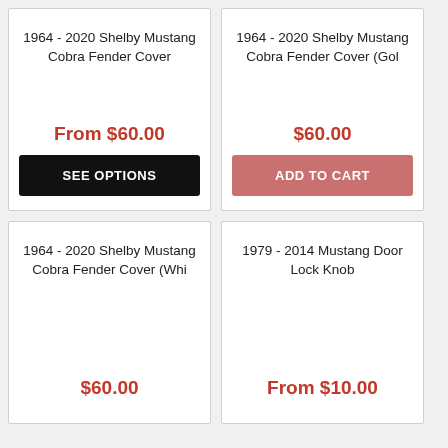1964 - 2020 Shelby Mustang Cobra Fender Cover
From $60.00
SEE OPTIONS
1964 - 2020 Shelby Mustang Cobra Fender Cover (Gol
$60.00
ADD TO CART
1964 - 2020 Shelby Mustang Cobra Fender Cover (Whi
$60.00
1979 - 2014 Mustang Door Lock Knob
From $10.00